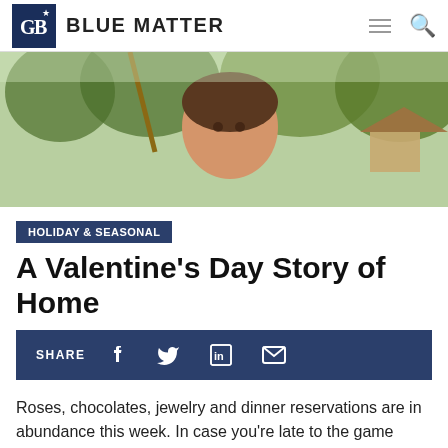BLUE MATTER
[Figure (photo): A young girl on a swing outdoors with trees in the background]
HOLIDAY & SEASONAL
A Valentine's Day Story of Home
SHARE (Facebook, Twitter, LinkedIn, Email icons)
Roses, chocolates, jewelry and dinner reservations are in abundance this week. In case you're late to the game tomorrow is